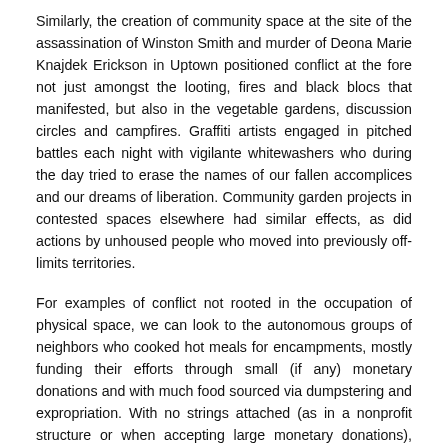Similarly, the creation of community space at the site of the assassination of Winston Smith and murder of Deona Marie Knajdek Erickson in Uptown positioned conflict at the fore not just amongst the looting, fires and black blocs that manifested, but also in the vegetable gardens, discussion circles and campfires. Graffiti artists engaged in pitched battles each night with vigilante whitewashers who during the day tried to erase the names of our fallen accomplices and our dreams of liberation. Community garden projects in contested spaces elsewhere had similar effects, as did actions by unhoused people who moved into previously off-limits territories.
For examples of conflict not rooted in the occupation of physical space, we can look to the autonomous groups of neighbors who cooked hot meals for encampments, mostly funding their efforts through small (if any) monetary donations and with much food sourced via dumpstering and expropriation. With no strings attached (as in a nonprofit structure or when accepting large monetary donations), these loose groups were able to skirt city regulations about serving meals that had frequently been used to crack down on such activity -- today those regulations are rarely enforced, but when the city attempts to do so, mutual aid workers will disobey and continue to get food to those who need it anyway.